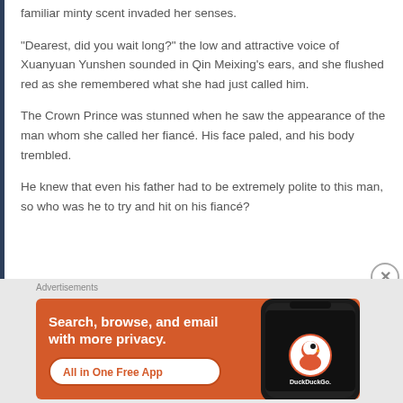familiar minty scent invaded her senses.
“Dearest, did you wait long?” the low and attractive voice of Xuanyuan Yunshen sounded in Qin Meixing’s ears, and she flushed red as she remembered what she had just called him.
The Crown Prince was stunned when he saw the appearance of the man whom she called her fiancé. His face paled, and his body trembled.
He knew that even his father had to be extremely polite to this man, so who was he to try and hit on his fiancé?
Advertisements
[Figure (other): DuckDuckGo advertisement banner: orange background with white text 'Search, browse, and email with more privacy.' and 'All in One Free App' button, with a phone image showing DuckDuckGo app on the right.]